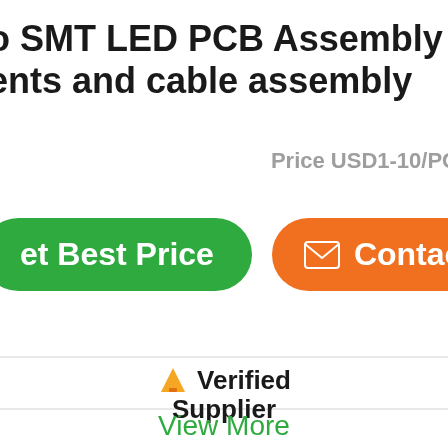o SMT LED PCB Assembly with ents and cable assembly
Price USD1-10/PC
[Figure (screenshot): Green 'Get Best Price' button and orange 'Contact' button with envelope icon]
Verified Supplier
View More